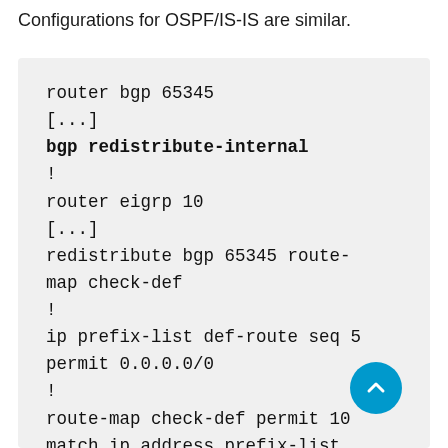Configurations for OSPF/IS-IS are similar.
router bgp 65345
[...]
bgp redistribute-internal
!
router eigrp 10
[...]
redistribute bgp 65345 route-map check-def
!
ip prefix-list def-route seq 5 permit 0.0.0.0/0
!
route-map check-def permit 10
match ip address prefix-list